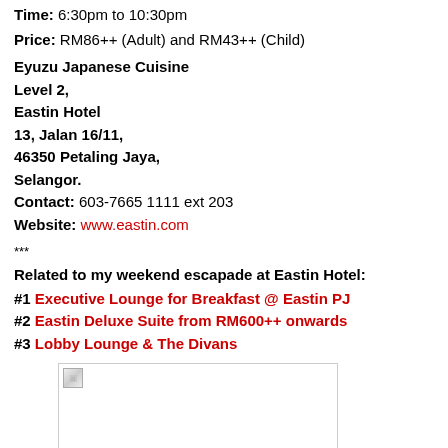Time: 6:30pm to 10:30pm
Price: RM86++ (Adult) and RM43++ (Child)
Eyuzu Japanese Cuisine
Level 2,
Eastin Hotel
13, Jalan 16/11,
46350 Petaling Jaya,
Selangor.
Contact: 603-7665 1111 ext 203
Website: www.eastin.com
***
Related to my weekend escapade at Eastin Hotel:
#1 Executive Lounge for Breakfast @ Eastin PJ
#2 Eastin Deluxe Suite from RM600++ onwards
#3 Lobby Lounge & The Divans
[Figure (photo): Broken image placeholder in a bordered box]